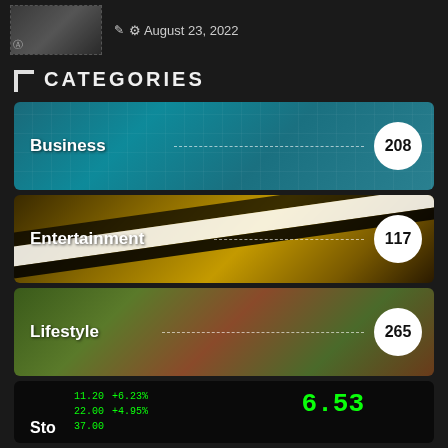August 23, 2022
CATEGORIES
[Figure (infographic): Business category card with teal grid background showing business items, count badge: 208]
[Figure (infographic): Entertainment category card with clapperboard and popcorn on yellow background, count badge: 117]
[Figure (infographic): Lifestyle category card with dumbbells, tape measure and food on wooden background, count badge: 265]
[Figure (infographic): Stocks category card with dark background and green financial numbers, partially visible]